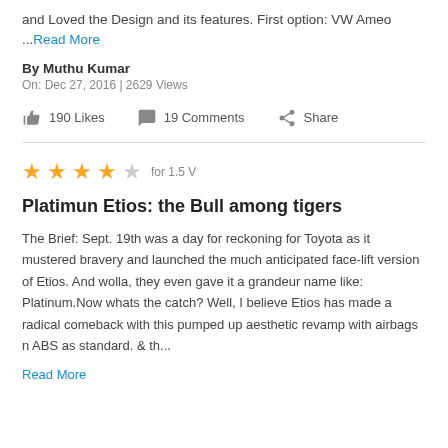and Loved the Design and its features. First option: VW Ameo ...Read More
By Muthu Kumar
On: Dec 27, 2016 | 2629 Views
190 Likes   19 Comments   Share
★★★★☆ for 1.5 V
Platimun Etios: the Bull among tigers
The Brief: Sept. 19th was a day for reckoning for Toyota as it mustered bravery and launched the much anticipated face-lift version of Etios. And wolla, they even gave it a grandeur name like: Platinum.Now whats the catch? Well, I believe Etios has made a radical comeback with this pumped up aesthetic revamp with airbags n ABS as standard. & th...
Read More